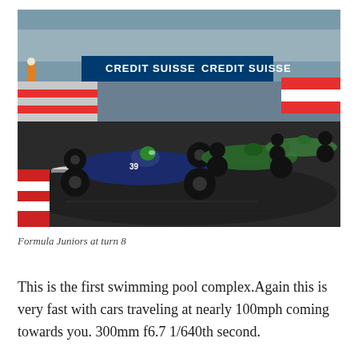[Figure (photo): Formula Junior vintage open-wheel racing cars going through turn 8 at Monaco, with Credit Suisse advertising banners visible in the background. The lead car is dark blue with a green-helmeted driver, followed by two green cars.]
Formula Juniors at turn 8
This is the first swimming pool complex.Again this is very fast with cars traveling at nearly 100mph coming towards you. 300mm f6.7 1/640th second.